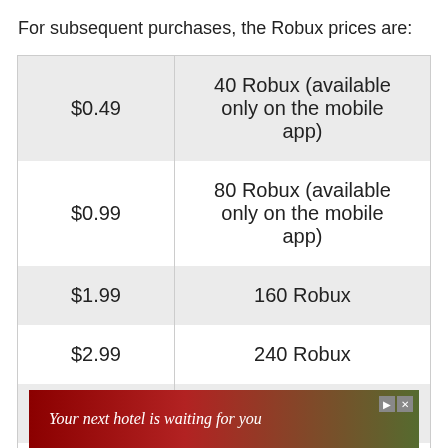For subsequent purchases, the Robux prices are:
| Price | Robux Amount |
| --- | --- |
| $0.49 | 40 Robux (available only on the mobile app) |
| $0.99 | 80 Robux (available only on the mobile app) |
| $1.99 | 160 Robux |
| $2.99 | 240 Robux |
| $3.99 | 320 Robux |
| $4.99 | 400 Robux |
[Figure (other): Advertisement banner: 'Your next hotel is waiting for you']